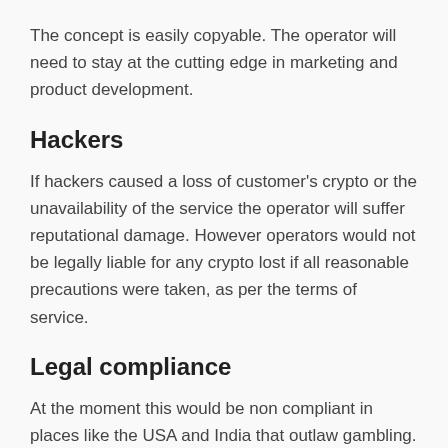The concept is easily copyable. The operator will need to stay at the cutting edge in marketing and product development.
Hackers
If hackers caused a loss of customer's crypto or the unavailability of the service the operator will suffer reputational damage. However operators would not be legally liable for any crypto lost if all reasonable precautions were taken, as per the terms of service.
Legal compliance
At the moment this would be non compliant in places like the USA and India that outlaw gambling. It would also be non compliant in places like Australia and the UK that